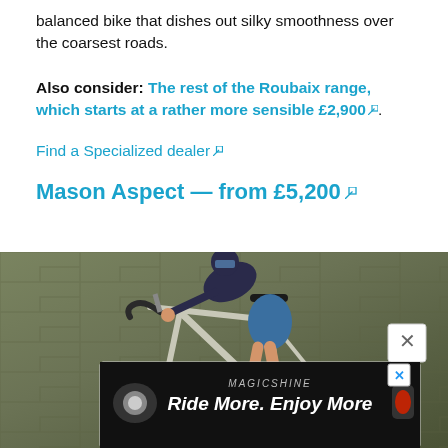balanced bike that dishes out silky smoothness over the coarsest roads.
Also consider: The rest of the Roubaix range, which starts at a rather more sensible £2,900.
Find a Specialized dealer
Mason Aspect — from £5,200
[Figure (photo): Cyclist riding a Mason Aspect road bike past a stone wall. Rider wears a blue/black kit with blue socks. The bike has a light titanium-coloured frame. An advertisement overlay at the bottom shows a Magicshine 'Ride More. Enjoy More' ad with a front light and rear light.]